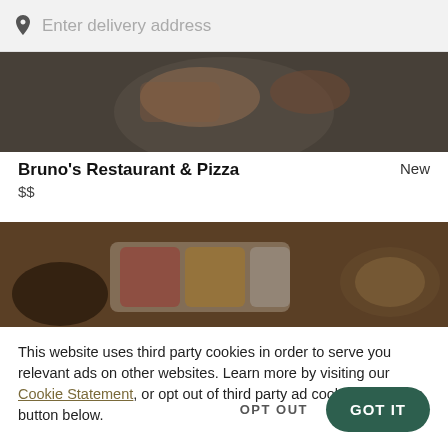Enter delivery address
[Figure (photo): Top-down view of food on a plate, partially visible, dark toned background]
Bruno's Restaurant & Pizza
New
$$
[Figure (photo): Top-down view of food items on plates on a wooden surface, partially visible]
This website uses third party cookies in order to serve you relevant ads on other websites. Learn more by visiting our Cookie Statement, or opt out of third party ad cookies using the button below.
OPT OUT
GOT IT